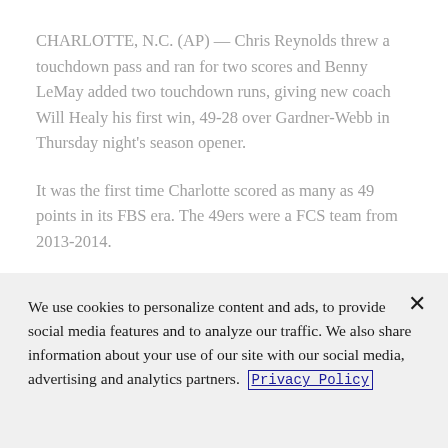CHARLOTTE, N.C. (AP) — Chris Reynolds threw a touchdown pass and ran for two scores and Benny LeMay added two touchdown runs, giving new coach Will Healy his first win, 49-28 over Gardner-Webb in Thursday night's season opener.
It was the first time Charlotte scored as many as 49 points in its FBS era. The 49ers were a FCS team from 2013-2014.
LeMay opened the scoring with a 1-yard run and Charlotte scored 28 second quarter points. Reynolds scored on a 3-yard run and threw a 3-yard TD pass to
We use cookies to personalize content and ads, to provide social media features and to analyze our traffic. We also share information about your use of our site with our social media, advertising and analytics partners.  Privacy Policy